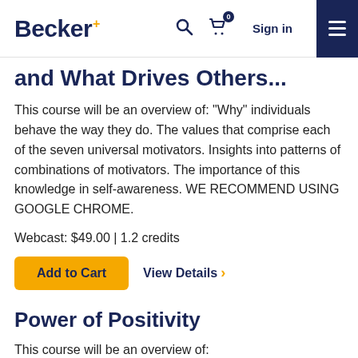Becker+ — Search, Cart (0), Sign in, Menu
and What Drives Others...
This course will be an overview of: "Why" individuals behave the way they do. The values that comprise each of the seven universal motivators. Insights into patterns of combinations of motivators. The importance of this knowledge in self-awareness. WE RECOMMEND USING GOOGLE CHROME.
Webcast: $49.00 | 1.2 credits
Add to Cart   View Details >
Power of Positivity
This course will be an overview of: